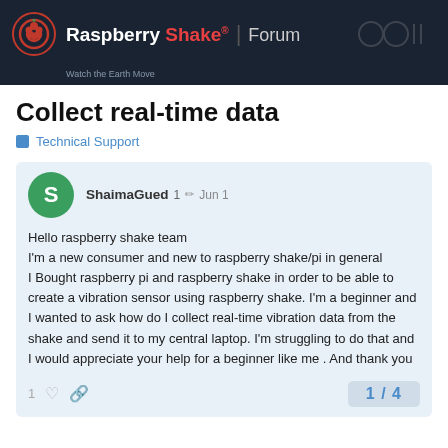Raspberry Shake® | Forum – Watch the Earth Move
Collect real-time data
Technical Support
ShaimaGued 1 ✏ Jun 1
Hello raspberry shake team
I'm a new consumer and new to raspberry shake/pi in general
I Bought raspberry pi and raspberry shake in order to be able to create a vibration sensor using raspberry shake. I'm a beginner and I wanted to ask how do I collect real-time vibration data from the shake and send it to my central laptop. I'm struggling to do that and I would appreciate your help for a beginner like me . And thank you
1 / 4